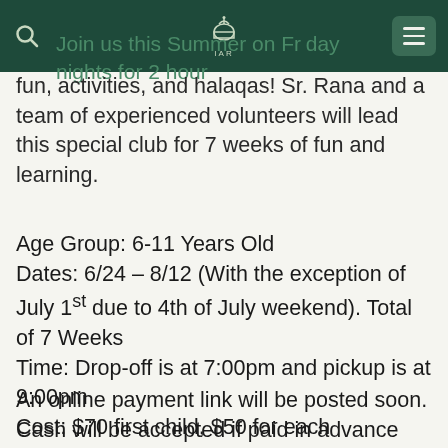Join us this Summer on Friday nights for 2 hours of fun, activities, and halaqas! Sr. Rana and a team of experienced volunteers will lead this special club for 7 weeks of fun and learning.
Age Group: 6-11 Years Old
Dates: 6/24 – 8/12 (With the exception of July 1st due to 4th of July weekend). Total of 7 Weeks
Time: Drop-off is at 7:00pm and pickup is at 9:00pm
Cost: $70 first child, $50 for each subsequent sibling
An online payment link will be posted soon. Cash will be accepted if paid in advance directly to Sr Tara or Sr Rana.